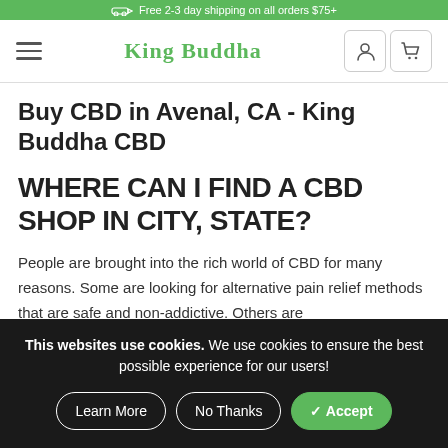Free 2-3 day shipping on all orders $75+
King Buddha
Buy CBD in Avenal, CA - King Buddha CBD
WHERE CAN I FIND A CBD SHOP IN CITY, STATE?
People are brought into the rich world of CBD for many reasons. Some are looking for alternative pain relief methods that are safe and non-addictive. Others are
This websites use cookies. We use cookies to ensure the best possible experience for our users!